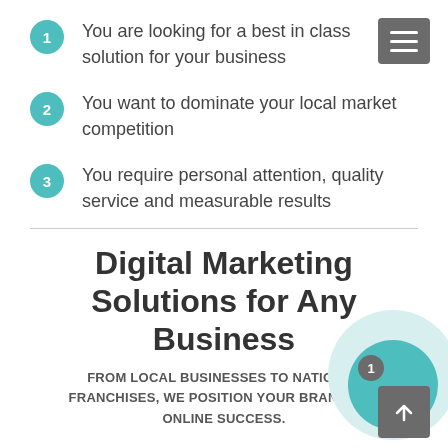You are looking for a best in class solution for your business
You want to dominate your local market competition
You require personal attention, quality service and measurable results
Digital Marketing Solutions for Any Business
FROM LOCAL BUSINESSES TO NATIONAL FRANCHISES, WE POSITION YOUR BRAND FOR ONLINE SUCCESS.